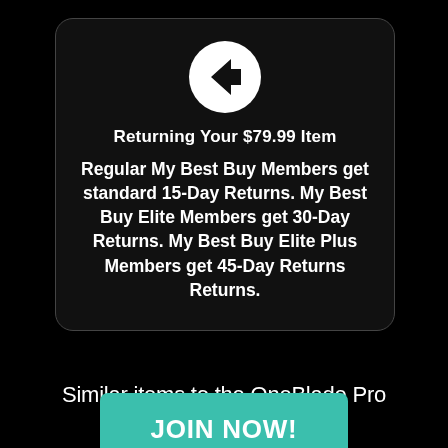[Figure (illustration): White circle with black left-pointing arrow icon (back button)]
Returning Your $79.99 Item
Regular My Best Buy Members get standard 15-Day Returns. My Best Buy Elite Members get 30-Day Returns. My Best Buy Elite Plus Members get 45-Day Returns Returns.
Similar items to the OneBlade Pro Hybrid Rechargeable hair
[Figure (other): Teal JOIN NOW! button]
SoLoyal ... ng items that a ... Philips Norelco